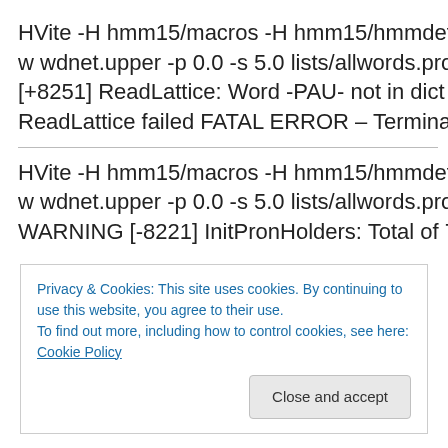HVite -H hmm15/macros -H hmm15/hmmdefs -S lists/dt.list w wdnet.upper -p 0.0 -s 5.0 lists/allwords.prons.dict.final lis [+8251] ReadLattice: Word -PAU- not in dict ERROR [+321 ReadLattice failed FATAL ERROR – Terminating program H
HVite -H hmm15/macros -H hmm15/hmmdefs -S lists/dt.list w wdnet.upper -p 0.0 -s 5.0 lists/allwords.prons.dict.addre WARNING [-8221] InitPronHolders: Total of 77 duplicate pr HVite ERROR [+8231] GetHCIModel: Cannot find hmm [???-]IY[- FATAL ERROR – Terminating program HVite
Privacy & Cookies: This site uses cookies. By continuing to use this website, you agree to their use. To find out more, including how to control cookies, see here: Cookie Policy